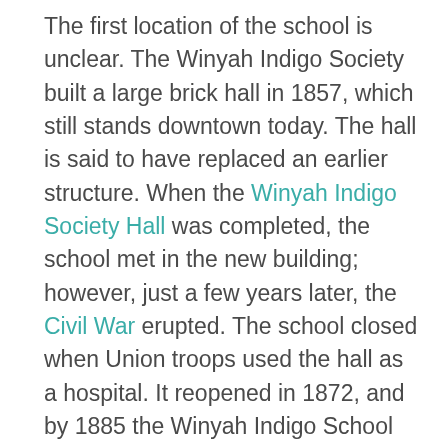The first location of the school is unclear. The Winyah Indigo Society built a large brick hall in 1857, which still stands downtown today. The hall is said to have replaced an earlier structure. When the Winyah Indigo Society Hall was completed, the school met in the new building; however, just a few years later, the Civil War erupted. The school closed when Union troops used the hall as a hospital. It reopened in 1872, and by 1885 the Winyah Indigo School District was created. In 1887 Winyah Indigo School merged with another public school, and the combined school continued to meet in the society's hall.